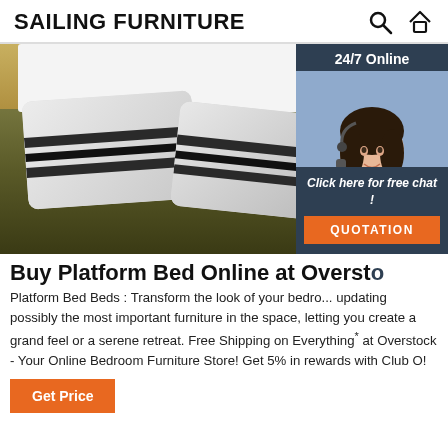SAILING FURNITURE
[Figure (photo): Bedroom scene with striped pillows on a dark rug, white bed frame in background. Overlay: 24/7 Online chat widget with agent photo, 'Click here for free chat!' and QUOTATION button.]
Buy Platform Bed Online at Overst...
Platform Bed Beds : Transform the look of your bedro... updating possibly the most important furniture in the space, letting you create a grand feel or a serene retreat. Free Shipping on Everything* at Overstock - Your Online Bedroom Furniture Store! Get 5% in rewards with Club O!
Get Price